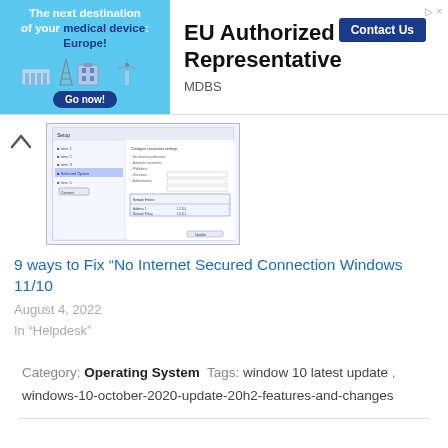[Figure (other): Advertisement banner for MDBS EU Authorized Representative with blue left panel showing 'The next destination of your medical device: Europe!' and right panel showing 'EU Authorized Representative' with a 'Contact Us' button and 'MDBS' text]
[Figure (screenshot): Screenshot of a Windows network/internet settings dialog box with configuration options]
9 ways to Fix “No Internet Secured Connection Windows 11/10
August 4, 2022
In “Helpdesk”
Category: Operating System  Tags: window 10 latest update , windows-10-october-2020-update-20h2-features-and-changes